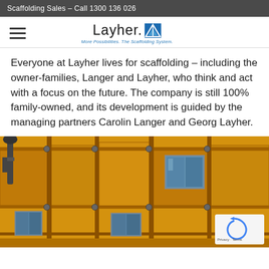Scaffolding Sales - Call 1300 136 026
[Figure (logo): Layher logo with tagline 'More Possibilities. The Scaffolding System.']
Everyone at Layher lives for scaffolding – including the owner-families, Langer and Layher, who think and act with a focus on the future. The company is still 100% family-owned, and its development is guided by the managing partners Carolin Langer and Georg Layher.
[Figure (photo): Close-up photograph of yellow scaffolding structure on a building exterior with windows visible]